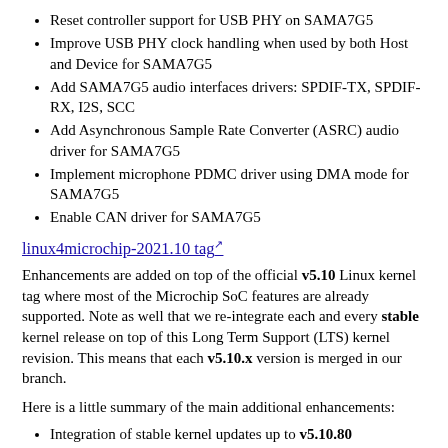Reset controller support for USB PHY on SAMA7G5
Improve USB PHY clock handling when used by both Host and Device for SAMA7G5
Add SAMA7G5 audio interfaces drivers: SPDIF-TX, SPDIF-RX, I2S, SCC
Add Asynchronous Sample Rate Converter (ASRC) audio driver for SAMA7G5
Implement microphone PDMC driver using DMA mode for SAMA7G5
Enable CAN driver for SAMA7G5
linux4microchip-2021.10 tag
Enhancements are added on top of the official v5.10 Linux kernel tag where most of the Microchip SoC features are already supported. Note as well that we re-integrate each and every stable kernel release on top of this Long Term Support (LTS) kernel revision. This means that each v5.10.x version is merged in our branch.
Here is a little summary of the main additional enhancements:
Integration of stable kernel updates up to v5.10.80
WILC: Update driver & firmware to 15.6. Addition of WPA3 security support